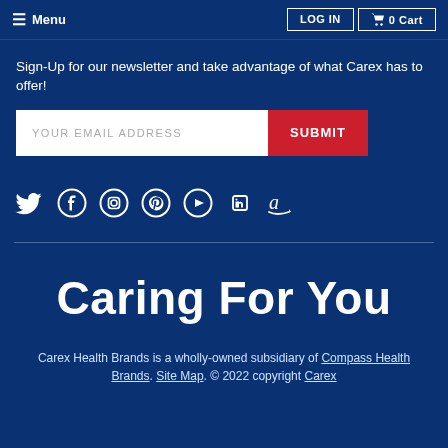Menu | LOG IN | 0 Cart
Sign-Up for our newsletter and take advantage of what Carex has to offer!
[Figure (screenshot): Email input field with placeholder 'YOUR EMAIL ADDRESS' and a red SUBMIT button]
[Figure (infographic): Social media icons: Twitter, Facebook, Instagram, Pinterest, YouTube, LinkedIn, Amazon]
Caring For You
Carex Health Brands is a wholly-owned subsidiary of Compass Health Brands. Site Map. © 2022 copyright Carex